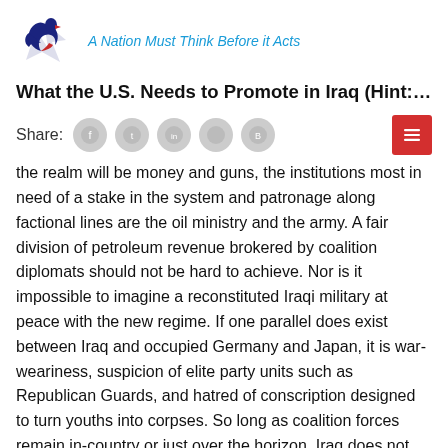A Nation Must Think Before it Acts
What the U.S. Needs to Promote in Iraq (Hint: It’s Not De…
Share:
the realm will be money and guns, the institutions most in need of a stake in the system and patronage along factional lines are the oil ministry and the army. A fair division of petroleum revenue brokered by coalition diplomats should not be hard to achieve. Nor is it impossible to imagine a reconstituted Iraqi military at peace with the new regime. If one parallel does exist between Iraq and occupied Germany and Japan, it is war-weariness, suspicion of elite party units such as Republican Guards, and hatred of conscription designed to turn youths into corpses. So long as coalition forces remain in-country or just over the horizon, Iraq does not need a large army. Nor can the country afford one. Hence, a modest constabulary of non-Ba’athist professionals who know how to stay in